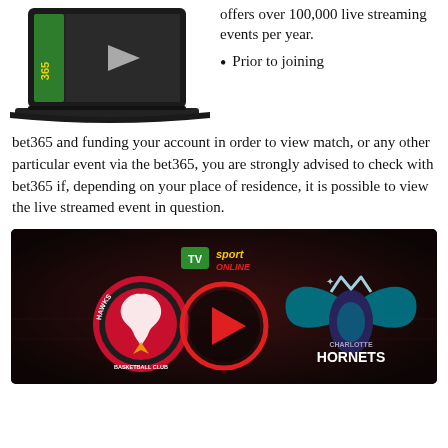[Figure (illustration): Laptop with bet365 green logo and video play button on screen, shown at an angle]
offers over 100,000 live streaming events per year.
Prior to joining bet365 and funding your account in order to view match, or any other particular event via the bet365, you are strongly advised to check with bet365 if, depending on your place of residence, it is possible to view the live streamed event in question.
[Figure (photo): Dark sports broadcast banner showing Atlanta Hawks vs Charlotte Hornets with TV Sport Online logo and play button in center]